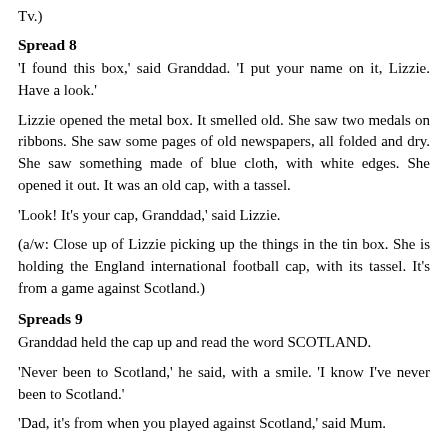Tv.)
Spread 8
'I found this box,' said Granddad. 'I put your name on it, Lizzie. Have a look.'
Lizzie opened the metal box. It smelled old. She saw two medals on ribbons. She saw some pages of old newspapers, all folded and dry. She saw something made of blue cloth, with white edges. She opened it out. It was an old cap, with a tassel.
'Look! It's your cap, Granddad,' said Lizzie.
(a/w: Close up of Lizzie picking up the things in the tin box. She is holding the England international football cap, with its tassel. It's from a game against Scotland.)
Spreads 9
Granddad held the cap up and read the word SCOTLAND.
'Never been to Scotland,' he said, with a smile. 'I know I've never been to Scotland.'
'Dad, it's from when you played against Scotland,' said Mum.
'When you played against it,' said Lizzie. 'The cap has it…'